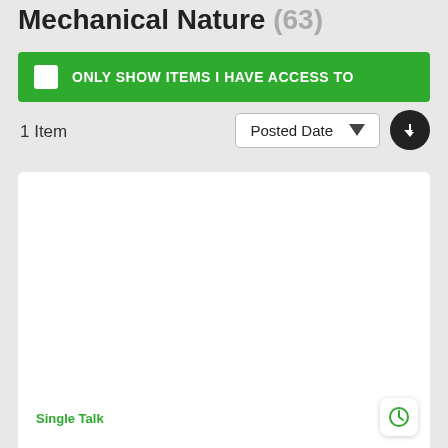Mechanical Nature (63)
ONLY SHOW ITEMS I HAVE ACCESS TO
1 Item
Posted Date
Single Talk